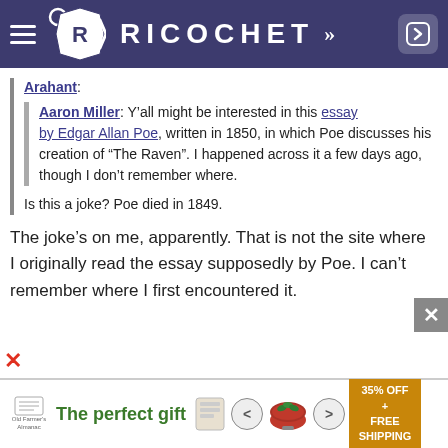RICOCHET
Arahant: Aaron Miller: Y’all might be interested in this essay by Edgar Allan Poe, written in 1850, in which Poe discusses his creation of “The Raven”. I happened across it a few days ago, though I don’t remember where. Is this a joke? Poe died in 1849.
The joke’s on me, apparently. That is not the site where I originally read the essay supposedly by Poe. I can’t remember where I first encountered it.
[Figure (screenshot): Advertisement banner: The perfect gift, 35% OFF + FREE SHIPPING]